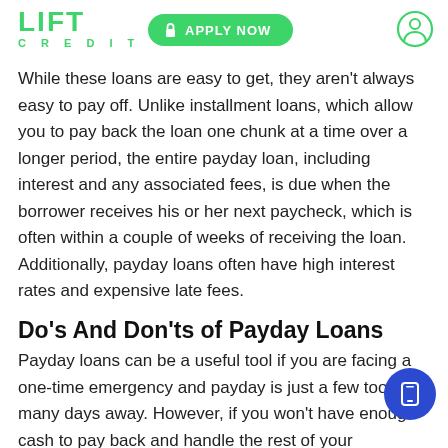LIFT CREDIT | APPLY NOW
While these loans are easy to get, they aren't always easy to pay off. Unlike installment loans, which allow you to pay back the loan one chunk at a time over a longer period, the entire payday loan, including interest and any associated fees, is due when the borrower receives his or her next paycheck, which is often within a couple of weeks of receiving the loan. Additionally, payday loans often have high interest rates and expensive late fees.
Do's And Don'ts of Payday Loans
Payday loans can be a useful tool if you are facing a one-time emergency and payday is just a few too many days away. However, if you won't have enough cash to pay back and handle the rest of your expenses when you get your next paycheck, payday loans can leave you in a worse place that you